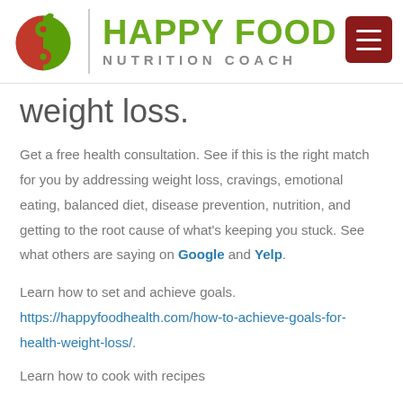[Figure (logo): Happy Food Nutrition Coach logo with circular apple icon (red and green yin-yang style apple) and brand name text]
weight loss.
Get a free health consultation. See if this is the right match for you by addressing weight loss, cravings, emotional eating, balanced diet, disease prevention, nutrition, and getting to the root cause of what's keeping you stuck. See what others are saying on Google and Yelp.
Learn how to set and achieve goals. https://happyfoodhealth.com/how-to-achieve-goals-for-health-weight-loss/.
Learn how to cook with recipes